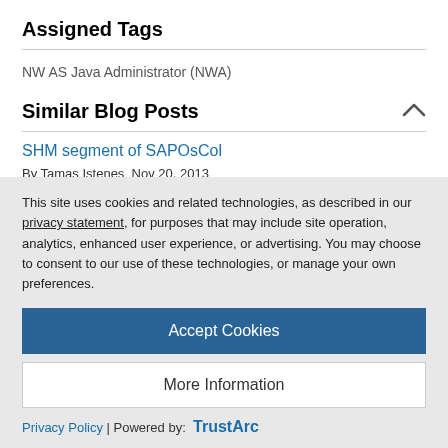Assigned Tags
NW AS Java Administrator (NWA)
Similar Blog Posts
SHM segment of SAPOsCol
By Tamas Istenes  Nov 20, 2013
This site uses cookies and related technologies, as described in our privacy statement, for purposes that may include site operation, analytics, enhanced user experience, or advertising. You may choose to consent to our use of these technologies, or manage your own preferences.
Accept Cookies
More Information
Privacy Policy | Powered by: TrustArc